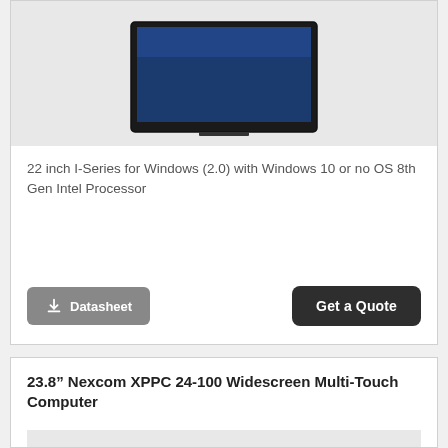[Figure (photo): Product image of 22 inch I-Series for Windows touchscreen monitor/computer, showing a dark-framed display with blue screen, on a light grey background]
22 inch I-Series for Windows (2.0) with Windows 10 or no OS 8th Gen Intel Processor
Datasheet
Get a Quote
23.8” Nexcom XPPC 24-100 Widescreen Multi-Touch Computer
[Figure (photo): Partial product image area for 23.8 inch Nexcom XPPC 24-100, light grey placeholder background]